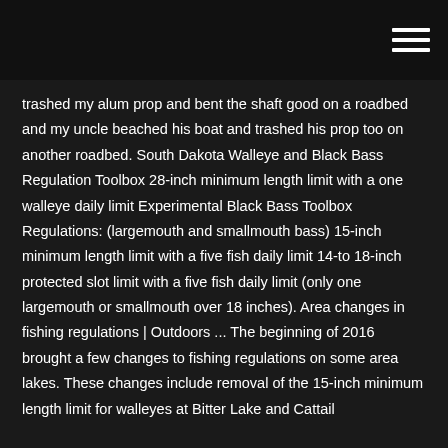trashed my alum prop and bent the shaft good on a roadbed and my uncle beached his boat and trashed his prop too on another roadbed. South Dakota Walleye and Black Bass Regulation Toolbox 28-inch minimum length limit with a one walleye daily limit Experimental Black Bass Toolbox Regulations: (largemouth and smallmouth bass) 15-inch minimum length limit with a five fish daily limit 14-to 18-inch protected slot limit with a five fish daily limit (only one largemouth or smallmouth over 18 inches). Area changes in fishing regulations | Outdoors ... The beginning of 2016 brought a few changes to fishing regulations on some area lakes. These changes include removal of the 15-inch minimum length limit for walleyes at Bitter Lake and Cattail